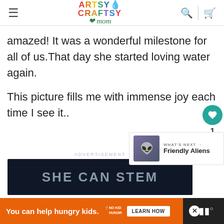Artsy Craftsy Mom
amazed! It was a wonderful milestone for all of us.That day she started loving water again.
This picture fills me with immense joy each time I see it..
[Figure (other): Advertisement banner: dark navy background with text 'SHE CAN STEM']
[Figure (other): What's Next thumbnail with text 'Friendly Aliens']
[Figure (other): Bottom advertisement bar: orange background with text 'You can help hungry kids.' No Kid Hungry logo and LEARN HOW button]